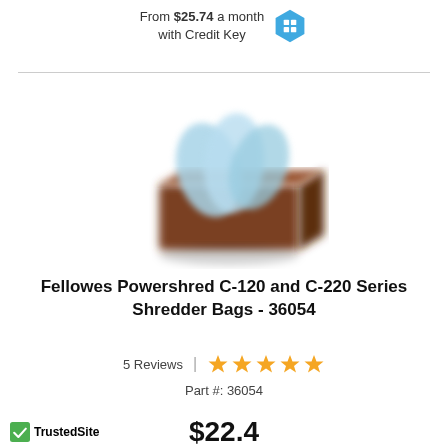From $25.74 a month with Credit Key
[Figure (photo): Product photo of Fellowes Powershred shredder bags box with blue plastic bags visible inside a brown rectangular container]
Fellowes Powershred C-120 and C-220 Series Shredder Bags - 36054
5 Reviews | ★★★★★
Part #: 36054
[Figure (logo): TrustedSite logo with green checkmark]
$22.49